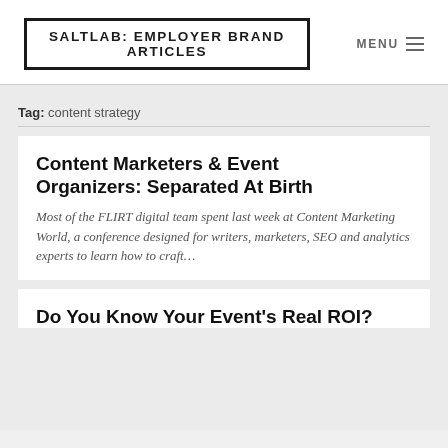SALTLAB: EMPLOYER BRAND ARTICLES
Tag: content strategy
Content Marketers & Event Organizers: Separated At Birth
Most of the FLIRT digital team spent last week at Content Marketing World, a conference designed for writers, marketers, SEO and analytics experts to learn how to craft…
Do You Know Your Event's Real ROI?